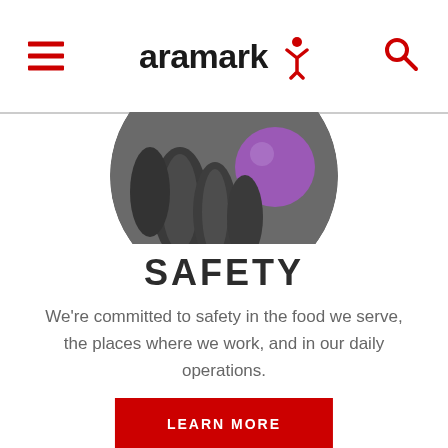aramark
[Figure (photo): Cropped circular photo of gym weights and a purple exercise ball, showing the bottom half of the circle]
SAFETY
We're committed to safety in the food we serve, the places where we work, and in our daily operations.
LEARN MORE